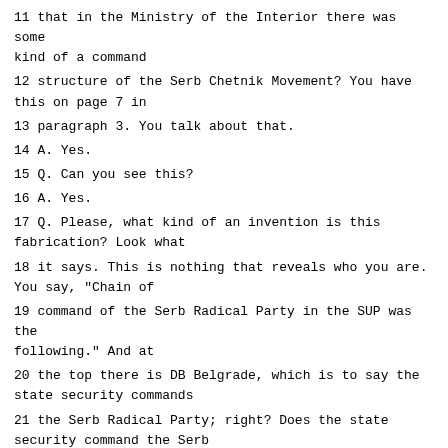11 that in the Ministry of the Interior there was some kind of a command
12 structure of the Serb Chetnik Movement? You have this on page 7 in
13 paragraph 3. You talk about that.
14 A. Yes.
15 Q. Can you see this?
16 A. Yes.
17 Q. Please, what kind of an invention is this fabrication? Look what
18 it says. This is nothing that reveals who you are. You say, "Chain of
19 command of the Serb Radical Party in the SUP was the following." And at
20 the top there is DB Belgrade, which is to say the state security commands
21 the Serb Radical Party; right? Does the state security command the Serb
22 Radical Party?
23 A. There was cooperation